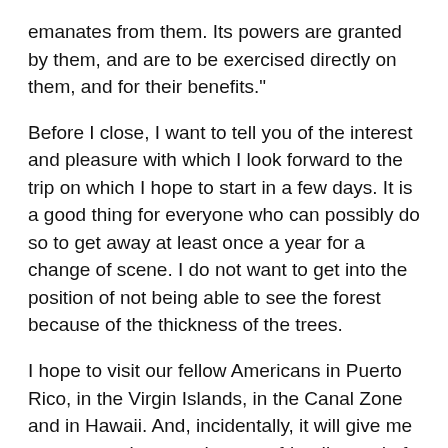emanates from them. Its powers are granted by them, and are to be exercised directly on them, and for their benefits."
Before I close, I want to tell you of the interest and pleasure with which I look forward to the trip on which I hope to start in a few days. It is a good thing for everyone who can possibly do so to get away at least once a year for a change of scene. I do not want to get into the position of not being able to see the forest because of the thickness of the trees.
I hope to visit our fellow Americans in Puerto Rico, in the Virgin Islands, in the Canal Zone and in Hawaii. And, incidentally, it will give me an opportunity to exchange a friendly word of greeting to the Presidents of our sister Republics: Haiti, Colombia and Panama.
After four weeks on board ship, I plan to land at a port in our Pacific northwest, and then will come the best part of the whole trip, for I am hoping to inspect a number of our